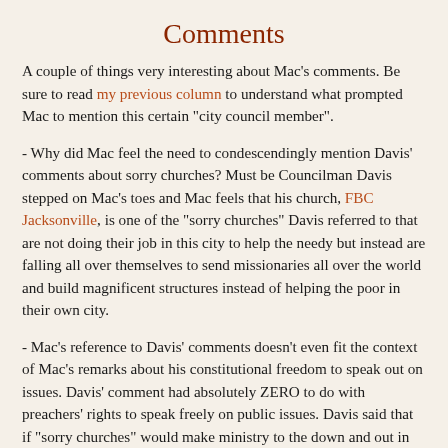Comments
A couple of things very interesting about Mac's comments. Be sure to read my previous column to understand what prompted Mac to mention this certain "city council member".
- Why did Mac feel the need to condescendingly mention Davis' comments about sorry churches? Must be Councilman Davis stepped on Mac's toes and Mac feels that his church, FBC Jacksonville, is one of the "sorry churches" Davis referred to that are not doing their job in this city to help the needy but instead are falling all over themselves to send missionaries all over the world and build magnificent structures instead of helping the poor in their own city.
- Mac's reference to Davis' comments doesn't even fit the context of Mac's remarks about his constitutional freedom to speak out on issues. Davis' comment had absolutely ZERO to do with preachers' rights to speak freely on public issues. Davis said that if "sorry churches" would make ministry to the down and out in our city a priority then the local government wouldn't have to spend so much